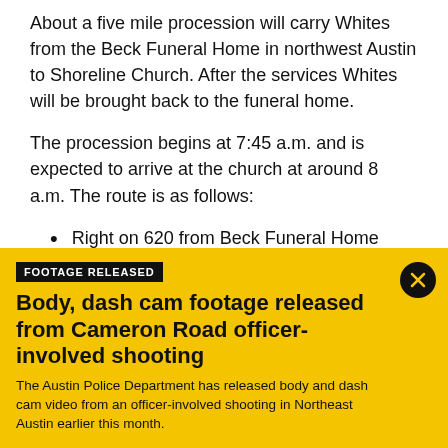About a five mile procession will carry Whites from the Beck Funeral Home in northwest Austin to Shoreline Church. After the services Whites will be brought back to the funeral home.
The procession begins at 7:45 a.m. and is expected to arrive at the church at around 8 a.m. The route is as follows:
Right on 620 from Beck Funeral Home
[Figure (infographic): Yellow banner ad with black badge reading FOOTAGE RELEASED, bold headline: Body, dash cam footage released from Cameron Road officer-involved shooting, and body text. Has a circular close button with X in top right.]